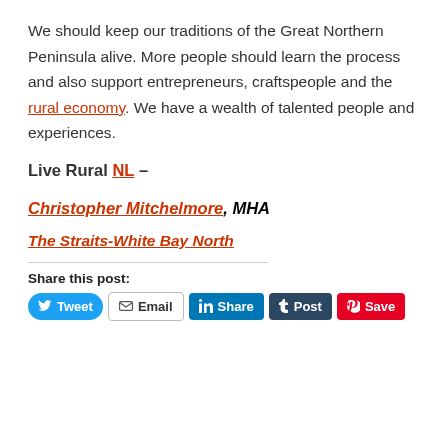We should keep our traditions of the Great Northern Peninsula alive. More people should learn the process and also support entrepreneurs, craftspeople and the rural economy. We have a wealth of talented people and experiences.
Live Rural NL –
Christopher Mitchelmore, MHA
The Straits-White Bay North
Share this post: